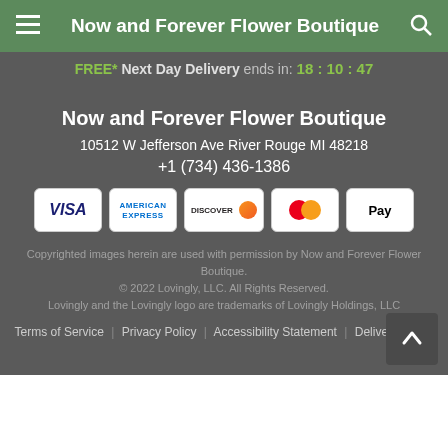Now and Forever Flower Boutique
FREE* Next Day Delivery ends in: 18:10:47
Now and Forever Flower Boutique
10512 W Jefferson Ave River Rouge MI 48218
+1 (734) 436-1386
[Figure (other): Payment method logos: Visa, American Express, Discover, Mastercard, Apple Pay]
Copyrighted images herein are used with permission by Now and Forever Flower Boutique. © 2022 Lovingly, LLC. All Rights Reserved. Lovingly and the Lovingly logo are trademarks of Lovingly Holdings, LLC
Terms of Service | Privacy Policy | Accessibility Statement | Delivery Policy